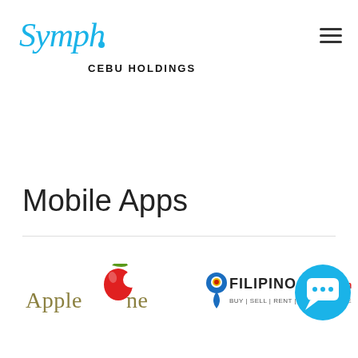[Figure (logo): Symph logo in blue cursive font at top left]
[Figure (logo): Hamburger menu icon (three horizontal lines) at top right]
CEBU HOLDINGS
Mobile Apps
[Figure (logo): Apple One logo with stylized apple and leaf, text in olive/gold color]
[Figure (logo): Filipino Houses logo with map pin icon and text BUY | SELL | RENT | FORECLOSURE]
[Figure (logo): Blue circular chat bubble icon overlapping right side]